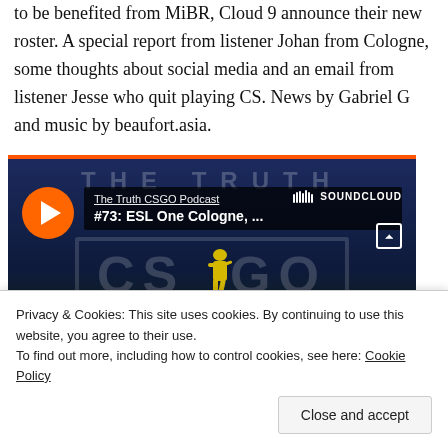to be benefited from MiBR, Cloud 9 announce their new roster. A special report from listener Johan from Cologne, some thoughts about social media and an email from listener Jesse who quit playing CS. News by Gabriel G and music by beaufort.asia.
[Figure (screenshot): SoundCloud embedded player for 'The Truth CSGO Podcast' episode '#73: ESL One Cologne, ...' showing a CS:GO branded background with a play button, waveform, and 1:01:37 duration.]
Privacy & Cookies: This site uses cookies. By continuing to use this website, you agree to their use.
To find out more, including how to control cookies, see here: Cookie Policy
Close and accept